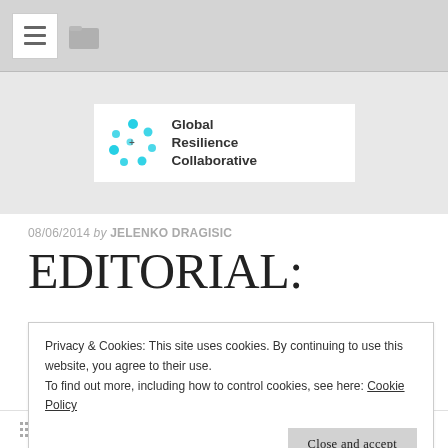Navigation bar with hamburger menu and folder icon
[Figure (logo): Global Resilience Collaborative logo with cyan/teal circular nodes graphic and text]
08/06/2014 by JELENKO DRAGISIC
Editorial:
Privacy & Cookies: This site uses cookies. By continuing to use this website, you agree to their use.
To find out more, including how to control cookies, see here: Cookie Policy
Close and accept
UNCATEGORIZED